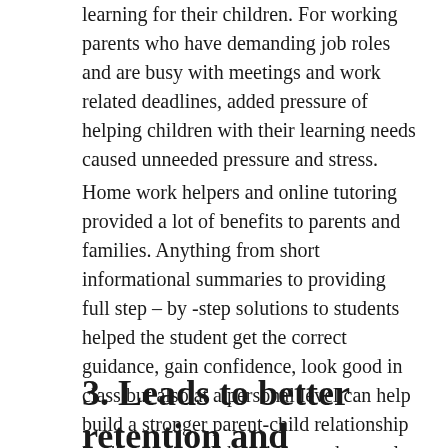learning for their children. For working parents who have demanding job roles and are busy with meetings and work related deadlines, added pressure of helping children with their learning needs caused unneeded pressure and stress.
Home work helpers and online tutoring provided a lot of benefits to parents and families. Anything from short informational summaries to providing full step – by -step solutions to students helped the student get the correct guidance, gain confidence, look good in class but also at a personal level can help build a stronger parent-child relationship leading to overall happiness and mental satisfaction.
3. Leads to better retention and